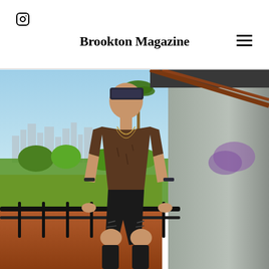Brookton Magazine
[Figure (photo): Young man wearing a dark bandana headband, brown distressed t-shirt, ripped black shorts, and necklaces, sitting on a railing of a balcony or rooftop with the Los Angeles skyline and palm trees visible in the background. Clear blue sky, urban residential neighborhood below.]